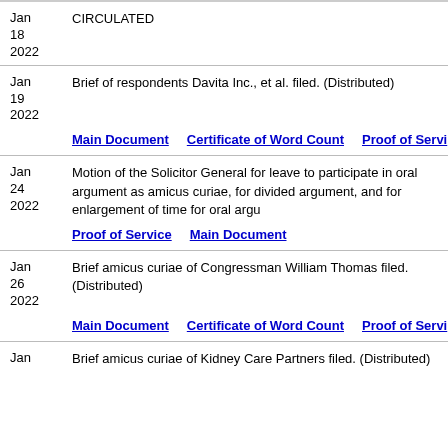| Date | Description |
| --- | --- |
| Jan 18 2022 | CIRCULATED |
| Jan 19 2022 | Brief of respondents Davita Inc., et al. filed. (Distributed) | Main Document | Certificate of Word Count | Proof of Service |
| Jan 24 2022 | Motion of the Solicitor General for leave to participate in oral argument as amicus curiae, for divided argument, and for enlargement of time for oral argument. | Proof of Service | Main Document |
| Jan 26 2022 | Brief amicus curiae of Congressman William Thomas filed. (Distributed) | Main Document | Certificate of Word Count | Proof of Service |
| Jan | Brief amicus curiae of Kidney Care Partners filed. (Distributed) |